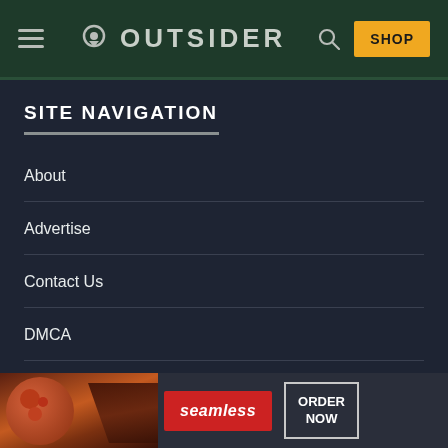OUTSIDER — navigation header with hamburger menu, logo, search icon, and SHOP button
SITE NAVIGATION
About
Advertise
Contact Us
DMCA
Jobs
[Figure (infographic): Seamless food delivery advertisement banner showing pizza image, Seamless logo in red, and ORDER NOW button]